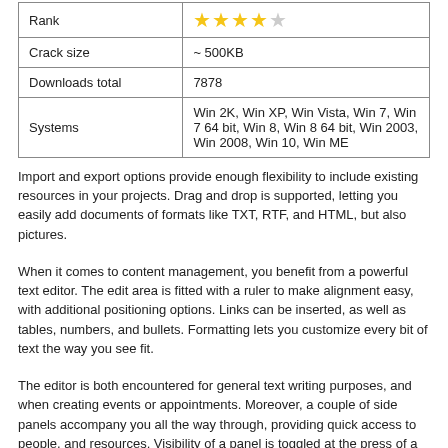| Rank | ★★★★☆ |
| Crack size | ~ 500KB |
| Downloads total | 7878 |
| Systems | Win 2K, Win XP, Win Vista, Win 7, Win 7 64 bit, Win 8, Win 8 64 bit, Win 2003, Win 2008, Win 10, Win ME |
Import and export options provide enough flexibility to include existing resources in your projects. Drag and drop is supported, letting you easily add documents of formats like TXT, RTF, and HTML, but also pictures.
When it comes to content management, you benefit from a powerful text editor. The edit area is fitted with a ruler to make alignment easy, with additional positioning options. Links can be inserted, as well as tables, numbers, and bullets. Formatting lets you customize every bit of text the way you see fit.
The editor is both encountered for general text writing purposes, and when creating events or appointments. Moreover, a couple of side panels accompany you all the way through, providing quick access to people, and resources. Visibility of a panel is toggled at the press of a button. Management of resources and people is done on the spot. Not a lot of details need to be inserted, but a name and representative icon are enough.
However, the main feature of the application is time management. In